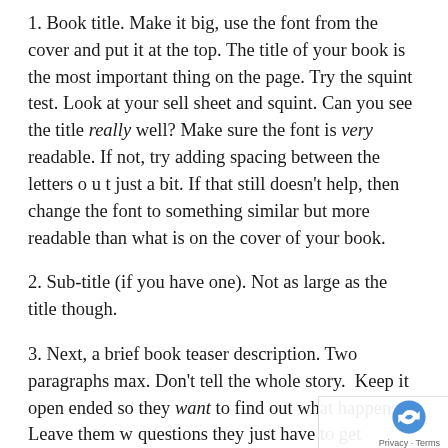1. Book title. Make it big, use the font from the cover and put it at the top. The title of your book is the most important thing on the page. Try the squint test. Look at your sell sheet and squint. Can you see the title really well? Make sure the font is very readable. If not, try adding spacing between the letters o u t just a bit. If that still doesn't help, then change the font to something similar but more readable than what is on the cover of your book.
2. Sub-title (if you have one). Not as large as the title though.
3. Next, a brief book teaser description. Two paragraphs max. Don't tell the whole story.  Keep it open ended so they want to find out what happens. Leave them with questions they just have to get answered! Get a fr... [continues]